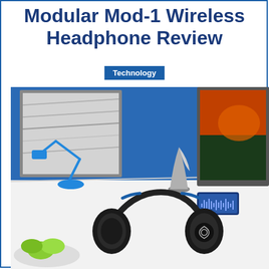Modular Mod-1 Wireless Headphone Review
Technology
[Figure (photo): A black wireless headphone (Modular Mod-1) lying flat on a white desk. Behind it are: a blue desk lamp on the left, framed black-and-white artwork on a blue wall, a silver decorative sculpture, a smartphone with a music app displayed, and a computer monitor with a colorful landscape image on the right. Green apples in a glass bowl are visible in the bottom-left corner.]